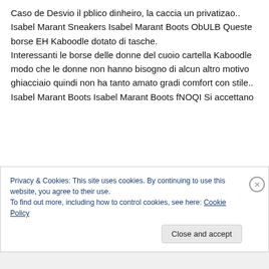Caso de Desvio il pblico dinheiro, la caccia un privatizao..
Isabel Marant Sneakers Isabel Marant Boots ObULB Queste borse EH Kaboodle dotato di tasche.
Interessanti le borse delle donne del cuoio cartella Kaboodle modo che le donne non hanno bisogno di alcun altro motivo ghiacciaio quindi non ha tanto amato gradi comfort con stile.. Isabel Marant Boots Isabel Marant Boots fNOQI Si accettano
Privacy & Cookies: This site uses cookies. By continuing to use this website, you agree to their use.
To find out more, including how to control cookies, see here: Cookie Policy
Close and accept